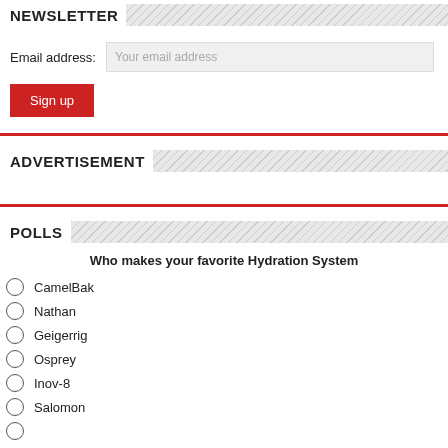NEWSLETTER
Email address: Your email address
Sign up
ADVERTISEMENT
POLLS
Who makes your favorite Hydration System
CamelBak
Nathan
Geigerrig
Osprey
Inov-8
Salomon